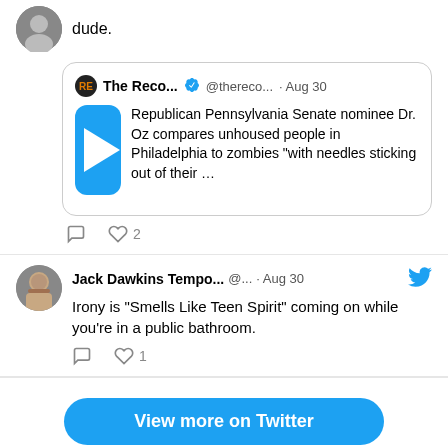dude.
[Figure (screenshot): Quoted tweet from The Reco... @thereco... Aug 30 with video thumbnail. Text: Republican Pennsylvania Senate nominee Dr. Oz compares unhoused people in Philadelphia to zombies "with needles sticking out of their ..."]
♡ 2
Jack Dawkins Tempo... @... · Aug 30
Irony is "Smells Like Teen Spirit" coming on while you're in a public bathroom.
♡ 1
View more on Twitter
Learn more about privacy on Twitter